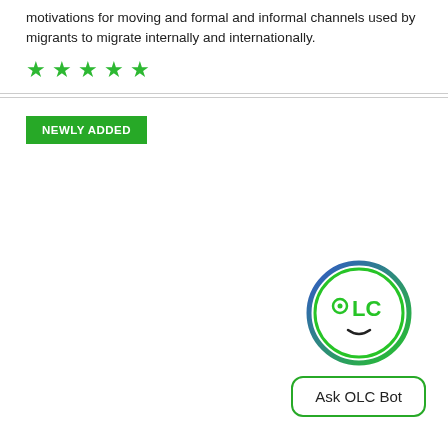motivations for moving and formal and informal channels used by migrants to migrate internally and internationally.
[Figure (other): Five green star rating icons]
NEWLY ADDED
[Figure (logo): OLC Bot chatbot icon — a circular face with OLC text inside, and a button labeled 'Ask OLC Bot']